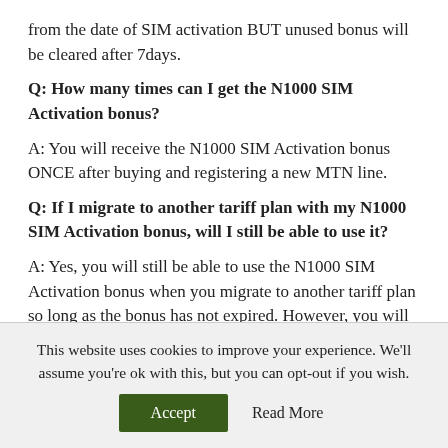from the date of SIM activation BUT unused bonus will be cleared after 7days.
Q: How many times can I get the N1000 SIM Activation bonus?
A: You will receive the N1000 SIM Activation bonus ONCE after buying and registering a new MTN line.
Q: If I migrate to another tariff plan with my N1000 SIM Activation bonus, will I still be able to use it?
A: Yes, you will still be able to use the N1000 SIM Activation bonus when you migrate to another tariff plan so long as the bonus has not expired. However, you will not be able to use the SIM Activation if you migrate to XtraSpecial plan or
This website uses cookies to improve your experience. We'll assume you're ok with this, but you can opt-out if you wish.